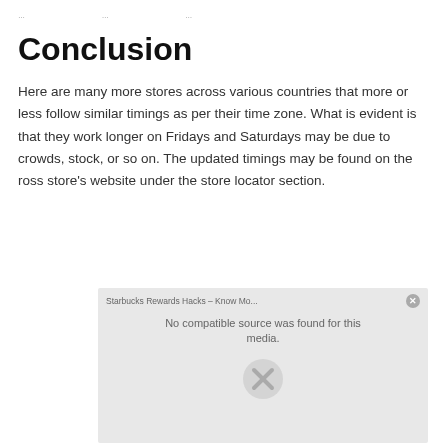… … …
Conclusion
Here are many more stores across various countries that more or less follow similar timings as per their time zone. What is evident is that they work longer on Fridays and Saturdays may be due to crowds, stock, or so on. The updated timings may be found on the ross store's website under the store locator section.
[Figure (screenshot): Embedded media player showing 'Starbucks Rewards Hacks – Know Mo...' with a 'No compatible source was found for this media.' error message and an X icon.]